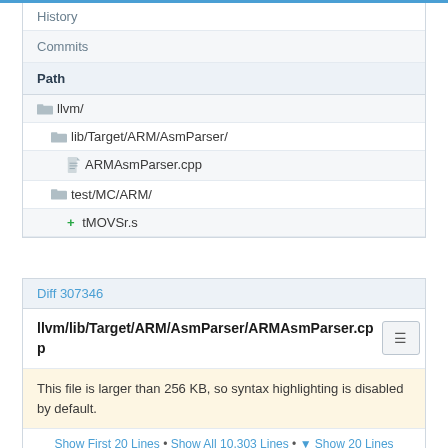History
Commits
Path
llvm/
lib/Target/ARM/AsmParser/
ARMAsmParser.cpp
test/MC/ARM/
+ tMOVSr.s
Diff 307346
llvm/lib/Target/ARM/AsmParser/ARMAsmParser.cpp
This file is larger than 256 KB, so syntax highlighting is disabled by default.
Show First 20 Lines • Show All 10,303 Lines • ▼ Show 20 Lines
// request the 32-bit version. #transform it